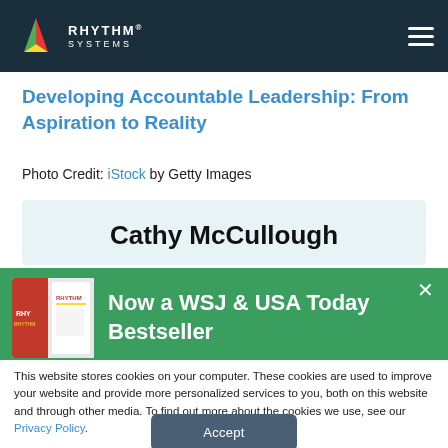Rhythm Systems
Developing Accountable Leadership: From Aspiration to Reality
Photo Credit: iStock by Getty Images
Cathy McCullough
[Figure (infographic): Green promotional banner with book cover image showing 'Now a WSJ & USA Today Bestseller' text and an X close button]
This website stores cookies on your computer. These cookies are used to improve your website and provide more personalized services to you, both on this website and through other media. To find out more about the cookies we use, see our Privacy Policy.
Accept